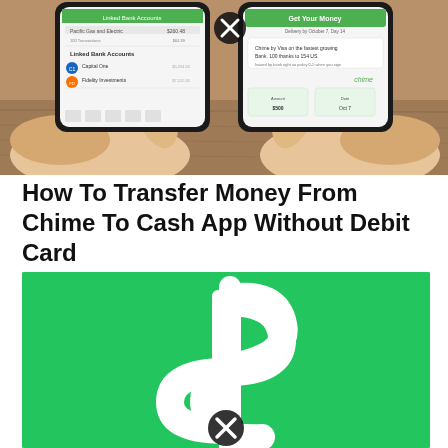[Figure (photo): Two hands holding smartphones showing mobile banking apps — Chime and a bank app — on a wooden table background. One phone shows linked bank accounts screen, the other shows Chime get your money screen. A close icon (X in circle) overlays the image.]
How To Transfer Money From Chime To Cash App Without Debit Card
[Figure (photo): Green background with large white Cash App dollar sign logo in the center. A close icon (X in circle) overlays the bottom of the image.]